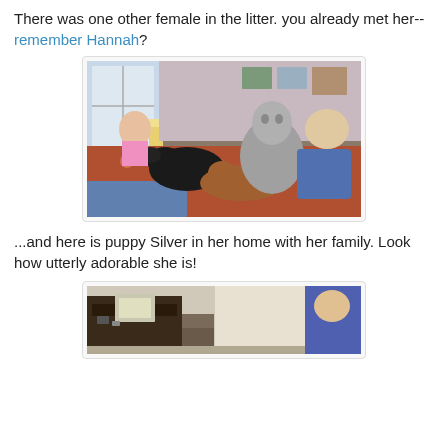There was one other female in the litter. you already met her--remember Hannah?
[Figure (photo): Photo of two people and multiple dogs (including a large grey hound-type puppy and a black dog and a brown dog) on a bed with a floral bedspread. A young girl is in the background near a window, and an older woman is on the right side of the bed.]
...and here is puppy Silver in her home with her family. Look how utterly adorable she is!
[Figure (photo): Partial photo of a room interior showing what appears to be a piano, a chair, and a person partially visible on the right side.]